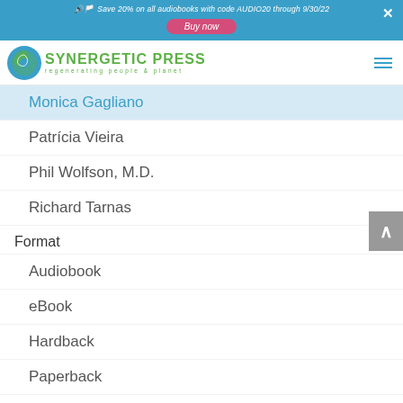Save 20% on all audiobooks with code AUDIO20 through 9/30/22 Buy now
[Figure (logo): Synergetic Press logo with spiral shell and globe, text: Synergetic Press, regenerating people & planet]
Monica Gagliano
Patrícia Vieira
Phil Wolfson, M.D.
Richard Tarnas
Format
Audiobook
eBook
Hardback
Paperback
Forthcoming Releases
Imprints
MAPS